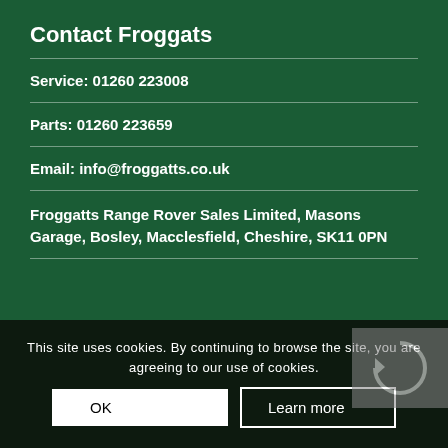Contact Froggats
Service: 01260 223008
Parts: 01260 223659
Email: info@froggatts.co.uk
Froggatts Range Rover Sales Limited, Masons Garage, Bosley, Macclesfield, Cheshire, SK11 0PN
This site uses cookies. By continuing to browse the site, you are agreeing to our use of cookies.